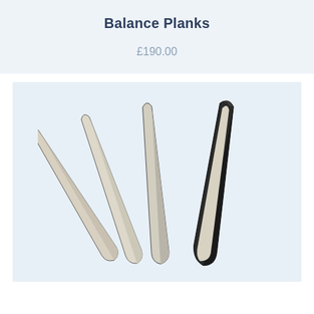Balance Planks
£190.00
[Figure (photo): Four balance planks arranged in a fan-like spread. Three planks are cream/off-white colored and one is dark/black, shown from a top-down angled perspective. The planks are elongated with rounded ends and appear to have a slight curve or channel shape.]